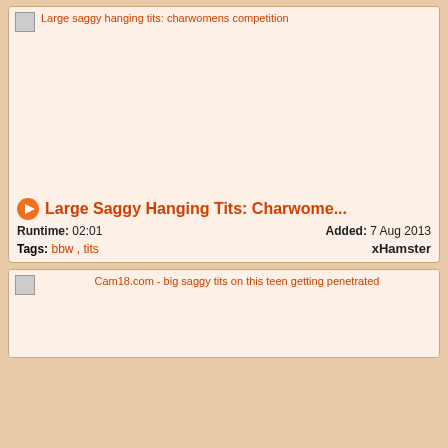[Figure (screenshot): Video thumbnail placeholder for 'Large saggy hanging tits: charwomens competition']
Large Saggy Hanging Tits: Charwome...
Runtime: 02:01   Added: 7 Aug 2013
Tags: bbw , tits   xHamster
[Figure (screenshot): Video thumbnail placeholder for 'Cam18.com - big saggy tits on this teen getting penetrated']